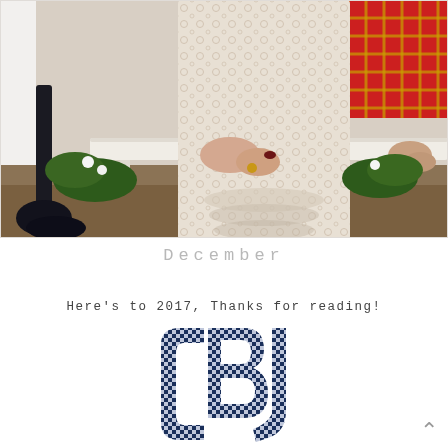[Figure (photo): Outdoor photo of a person wearing a cream/ivory lace dress, leaning on a white bench. A red plaid bag is visible in the upper right. Garden greenery and dark soil in background. A dark pole/stand is on the left side.]
December
Here's to 2017, Thanks for reading!
[Figure (logo): Monogram logo with letters in navy blue gingham/plaid check pattern]